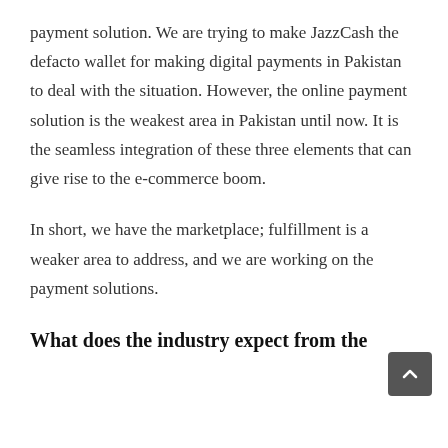payment solution. We are trying to make JazzCash the defacto wallet for making digital payments in Pakistan to deal with the situation. However, the online payment solution is the weakest area in Pakistan until now. It is the seamless integration of these three elements that can give rise to the e-commerce boom.
In short, we have the marketplace; fulfillment is a weaker area to address, and we are working on the payment solutions.
What does the industry expect from the